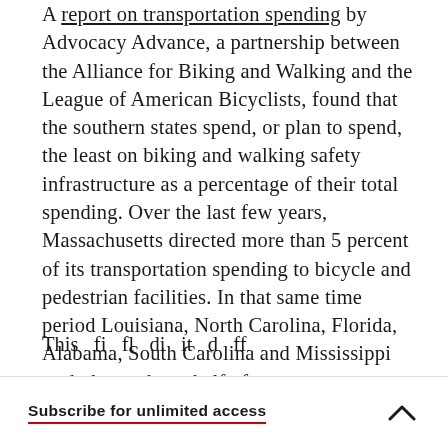A report on transportation spending by Advocacy Advance, a partnership between the Alliance for Biking and Walking and the League of American Bicyclists, found that the southern states spend, or plan to spend, the least on biking and walking safety infrastructure as a percentage of their total spending. Over the last few years, Massachusetts directed more than 5 percent of its transportation spending to bicycle and pedestrian facilities. In that same time period Louisiana, North Carolina, Florida, Alabama, South Carolina and Mississippi each devoted one half of one percent.
This du fi fl di it d ff
Subscribe for unlimited access